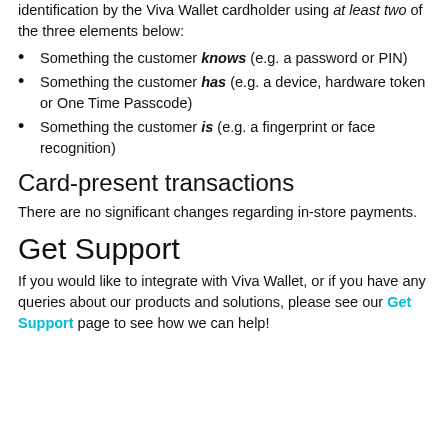identification by the Viva Wallet cardholder using at least two of the three elements below:
Something the customer knows (e.g. a password or PIN)
Something the customer has (e.g. a device, hardware token or One Time Passcode)
Something the customer is (e.g. a fingerprint or face recognition)
Card-present transactions
There are no significant changes regarding in-store payments.
Get Support
If you would like to integrate with Viva Wallet, or if you have any queries about our products and solutions, please see our Get Support page to see how we can help!